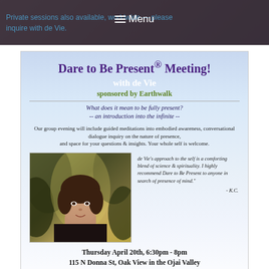Private sessions also available, worldwide — please inquire with de Vie.
[Figure (illustration): Flyer for 'Dare to Be Present® Meeting' event with de Vie, sponsored by Earthwalk. Light blue sky background. Includes event tagline, description, photo of de Vie, testimonial quote, event date/time/location, and donation info.]
Dare to Be Present® Meeting!
with  de Vie
sponsored by Earthwalk
What does it mean to be fully present? -- an introduction into the infinite --
Our group evening will include guided meditations into embodied awareness, conversational dialogue inquiry on the nature of presence, and space for your questions & insights. Your whole self is welcome.
de Vie's approach to the self is a comforting blend of science & spirituality. I highly recommend Dare to Be Present to anyone in search of presence of mind." - K.C.
Thursday April 20th, 6:30pm - 8pm
115 N Donna St, Oak View in the Ojai Valley
Suggestion Donation $10 (no one denied due to lack of funds)
Please RSVP by text to 520-955-9222 or for questions.